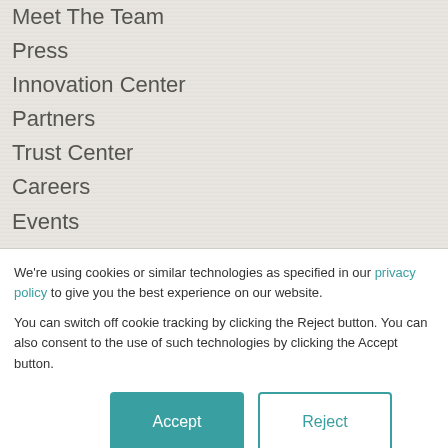Meet The Team
Press
Innovation Center
Partners
Trust Center
Careers
Events
Contact
HomeTrak Customers
We're using cookies or similar technologies as specified in our privacy policy to give you the best experience on our website.

You can switch off cookie tracking by clicking the Reject button. You can also consent to the use of such technologies by clicking the Accept button.